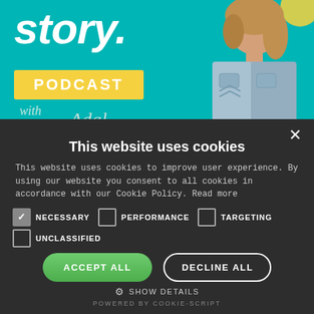[Figure (screenshot): Podcast banner with teal background showing 'story. PODCAST with [host name]' text and a woman in a denim shirt on the right side]
This website uses cookies
This website uses cookies to improve user experience. By using our website you consent to all cookies in accordance with our Cookie Policy. Read more
NECESSARY (checked), PERFORMANCE (unchecked), TARGETING (unchecked)
UNCLASSIFIED (unchecked)
ACCEPT ALL | DECLINE ALL
SHOW DETAILS
POWERED BY COOKIE-SCRIPT